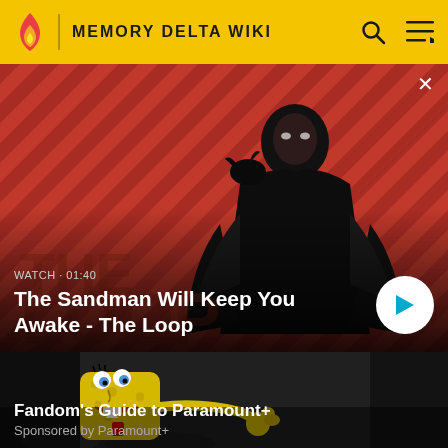MEMORY DELTA WIKI
[Figure (screenshot): Video thumbnail showing a dark figure in a black coat with a raven on their shoulder, standing against a red diagonal striped background. 'THE LOOP' text visible in the lower portion. Duration label 'WATCH · 01:40' shown.]
WATCH · 01:40
The Sandman Will Keep You Awake - The Loop
[Figure (screenshot): Sponsored card showing SpongeBob SquarePants cartoon character against a dark background.]
Fandom's Guide to Paramount+
Sponsored by Paramount+